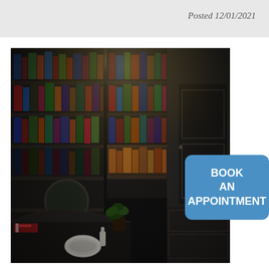Posted 12/01/2021
[Figure (photo): Dark interior room with floor-to-ceiling black bookshelves filled with books, a black roll-top desk with a round sink and mirror, plants, and a dark paneled door. A single recessed ceiling light illuminates the space.]
BOOK AN APPOINTMENT